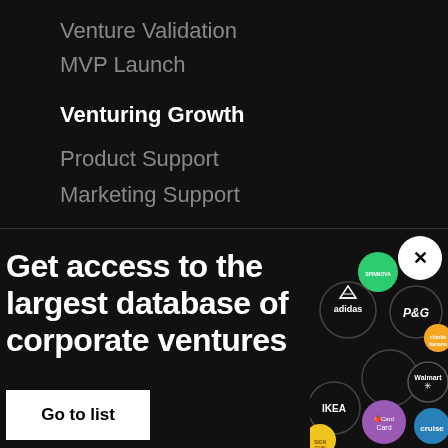Venture Validation
MVP Launch
Venturing Growth
Product Support
Marketing Support
Get access to the largest database of corporate ventures
[Figure (infographic): Bubble/circle diagram showing logos of corporate ventures including Spinnova, adidas, P&G, charlie banana, Apple, Walmart, Apple Card, Cruise, IKEA, and a yellow circle. Also shows a white circle with X close button.]
Go to list